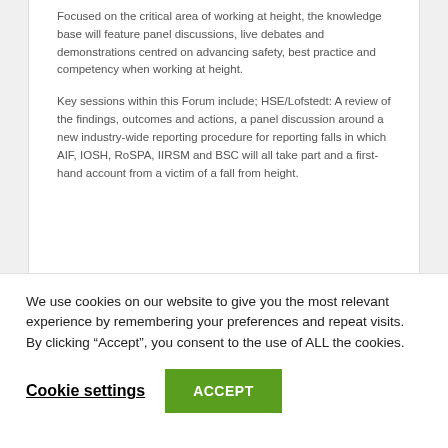Focused on the critical area of working at height, the knowledge base will feature panel discussions, live debates and demonstrations centred on advancing safety, best practice and competency when working at height.
Key sessions within this Forum include; HSE/Lofstedt: A review of the findings, outcomes and actions, a panel discussion around a new industry-wide reporting procedure for reporting falls in which AIF, IOSH, RoSPA, IIRSM and BSC will all take part and a first-hand account from a victim of a fall from height.
We use cookies on our website to give you the most relevant experience by remembering your preferences and repeat visits. By clicking “Accept”, you consent to the use of ALL the cookies.
Cookie settings
ACCEPT